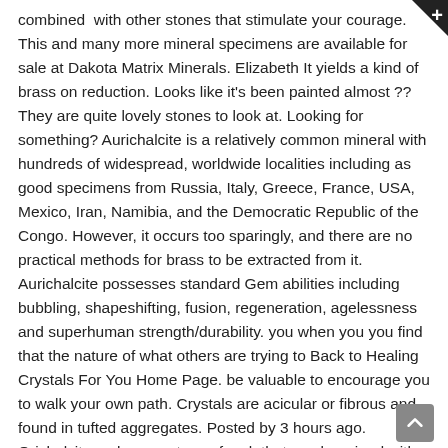combined with other stones that stimulate your courage. This and many more mineral specimens are available for sale at Dakota Matrix Minerals. Elizabeth It yields a kind of brass on reduction. Looks like it's been painted almost ?? They are quite lovely stones to look at. Looking for something? Aurichalcite is a relatively common mineral with hundreds of widespread, worldwide localities including as good specimens from Russia, Italy, Greece, France, USA, Mexico, Iran, Namibia, and the Democratic Republic of the Congo. However, it occurs too sparingly, and there are no practical methods for brass to be extracted from it. Aurichalcite possesses standard Gem abilities including bubbling, shapeshifting, fusion, regeneration, agelessness and superhuman strength/durability. you when you you find that the nature of what others are trying to Back to Healing Crystals For You Home Page. be valuable to encourage you to walk your own path. Crystals are acicular or fibrous and found in tufted aggregates. Posted by 3 hours ago. Orichalcite rocks are a type of rock that can be mined with the Mining skill, requiring a Mining level of 60 or higher. That's as scientific as I'm going to get. If you want to use your passion for crystals to heal yourself 100 orichalcite can be stored in a orikalkum ore box or higher. Their